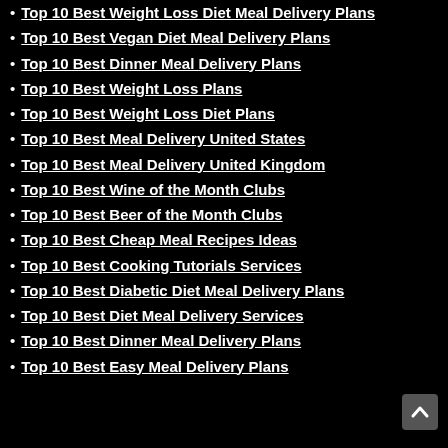Top 10 Best Weight Loss Diet Meal Delivery Plans
Top 10 Best Vegan Diet Meal Delivery Plans
Top 10 Best Dinner Meal Delivery Plans
Top 10 Best Weight Loss Plans
Top 10 Best Weight Loss Diet Plans
Top 10 Best Meal Delivery United States
Top 10 Best Meal Delivery United Kingdom
Top 10 Best Wine of the Month Clubs
Top 10 Best Beer of the Month Clubs
Top 10 Best Cheap Meal Recipes Ideas
Top 10 Best Cooking Tutorials Services
Top 10 Best Diabetic Diet Meal Delivery Plans
Top 10 Best Diet Meal Delivery Services
Top 10 Best Dinner Meal Delivery Plans
Top 10 Best Easy Meal Delivery Plans